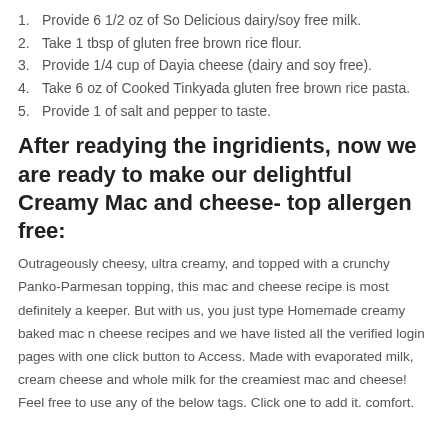1. Provide 6 1/2 oz of So Delicious dairy/soy free milk.
2. Take 1 tbsp of gluten free brown rice flour.
3. Provide 1/4 cup of Dayia cheese (dairy and soy free).
4. Take 6 oz of Cooked Tinkyada gluten free brown rice pasta.
5. Provide 1 of salt and pepper to taste.
After readying the ingridients, now we are ready to make our delightful Creamy Mac and cheese- top allergen free:
Outrageously cheesy, ultra creamy, and topped with a crunchy Panko-Parmesan topping, this mac and cheese recipe is most definitely a keeper. But with us, you just type Homemade creamy baked mac n cheese recipes and we have listed all the verified login pages with one click button to Access. Made with evaporated milk, cream cheese and whole milk for the creamiest mac and cheese! Feel free to use any of the below tags. Click one to add it. comfort.